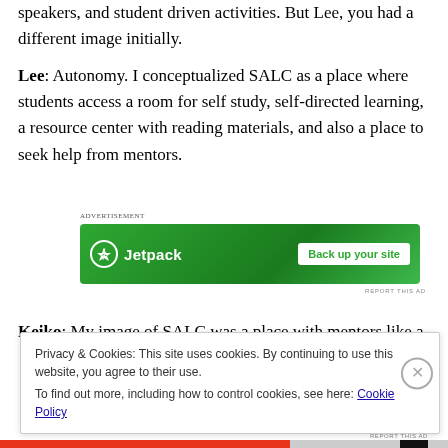speakers, and student driven activities. But Lee, you had a different image initially.
Lee: Autonomy. I conceptualized SALC as a place where students access a room for self study, self-directed learning, a resource center with reading materials, and also a place to seek help from mentors.
[Figure (other): Jetpack advertisement banner with green background, lightning bolt icon, 'Jetpack' text, and 'Back up your site' white button]
Keiko: My image of SALC was a place with mentors like a
Privacy & Cookies: This site uses cookies. By continuing to use this website, you agree to their use. To find out more, including how to control cookies, see here: Cookie Policy
Close and accept